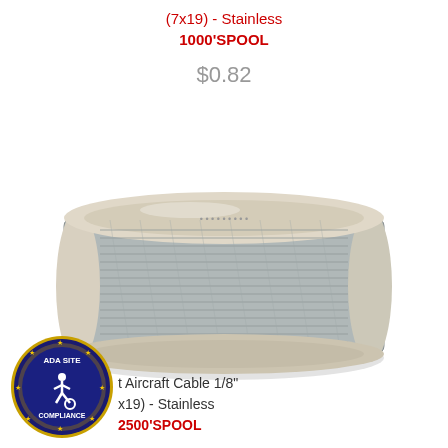(7x19) - Stainless 1000'SPOOL
$0.82
[Figure (photo): A spool of stainless steel aircraft cable (1/8 inch, 7x19 construction) wound on a beige/grey plastic spool, showing the silvery braided wire cable coiled tightly.]
[Figure (logo): ADA Site Compliance circular badge with blue background, gold star border, and wheelchair accessibility symbol in white.]
t Aircraft Cable 1/8" x19) - Stainless 2500'SPOOL